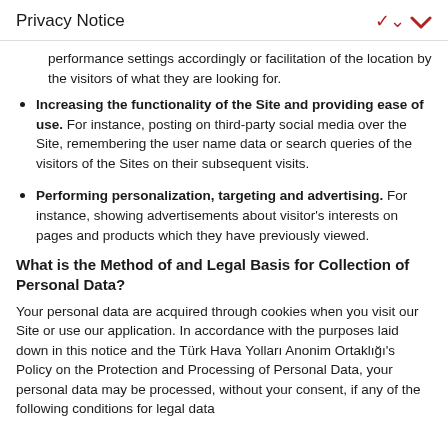Privacy Notice
performance settings accordingly or facilitation of the location by the visitors of what they are looking for.
Increasing the functionality of the Site and providing ease of use. For instance, posting on third-party social media over the Site, remembering the user name data or search queries of the visitors of the Sites on their subsequent visits.
Performing personalization, targeting and advertising. For instance, showing advertisements about visitor's interests on pages and products which they have previously viewed.
What is the Method of and Legal Basis for Collection of Personal Data?
Your personal data are acquired through cookies when you visit our Site or use our application. In accordance with the purposes laid down in this notice and the Türk Hava Yolları Anonim Ortaklığı's Policy on the Protection and Processing of Personal Data, your personal data may be processed, without your consent, if any of the following conditions for legal data